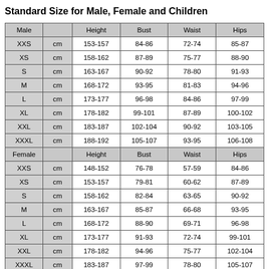Standard Size for Male, Female and Children
| Male |  | Height | Bust | Waist | Hips |
| --- | --- | --- | --- | --- | --- |
| XXS | cm | 153-157 | 84-86 | 72-74 | 85-87 |
| XS | cm | 158-162 | 87-89 | 75-77 | 88-90 |
| S | cm | 163-167 | 90-92 | 78-80 | 91-93 |
| M | cm | 168-172 | 93-95 | 81-83 | 94-96 |
| L | cm | 173-177 | 96-98 | 84-86 | 97-99 |
| XL | cm | 178-182 | 99-101 | 87-89 | 100-102 |
| XXL | cm | 183-187 | 102-104 | 90-92 | 103-105 |
| XXXL | cm | 188-192 | 105-107 | 93-95 | 106-108 |
| Female |  | Height | Bust | Waist | Hips |
| XXS | cm | 148-152 | 76-78 | 57-59 | 84-86 |
| XS | cm | 153-157 | 79-81 | 60-62 | 87-89 |
| S | cm | 158-162 | 82-84 | 63-65 | 90-92 |
| M | cm | 163-167 | 85-87 | 66-68 | 93-95 |
| L | cm | 168-172 | 88-90 | 69-71 | 96-98 |
| XL | cm | 173-177 | 91-93 | 72-74 | 99-101 |
| XXL | cm | 178-182 | 94-96 | 75-77 | 102-104 |
| XXXL | cm | 183-187 | 97-99 | 78-80 | 105-107 |
| Children |  | Height | Bust | Waist | Hips |